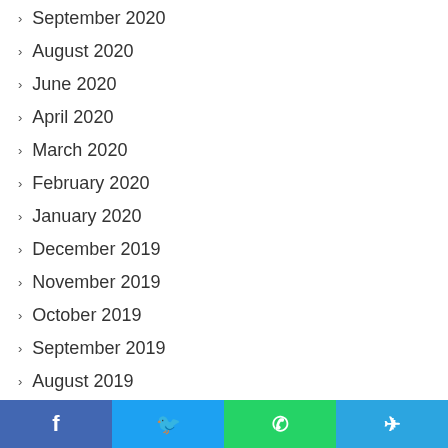September 2020
August 2020
June 2020
April 2020
March 2020
February 2020
January 2020
December 2019
November 2019
October 2019
September 2019
August 2019
July 2019
June 2019